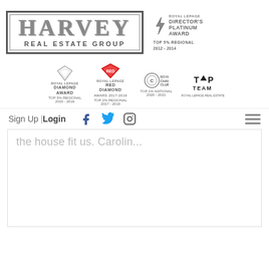[Figure (logo): Harvey Real Estate Group logo with border and Director's Platinum Award badge (Top 5% Regional 2012-2014)]
[Figure (logo): Four award badges: Diamond Award Top 3% Regional 2015-2016, Red Diamond Award Top 2% Regional 2017-2019, Chairman's Club Top 1% National 2020-2021, Top Team 2017-2020 Royal LePage]
Sign Up | Login
the house fit us. Carolin...